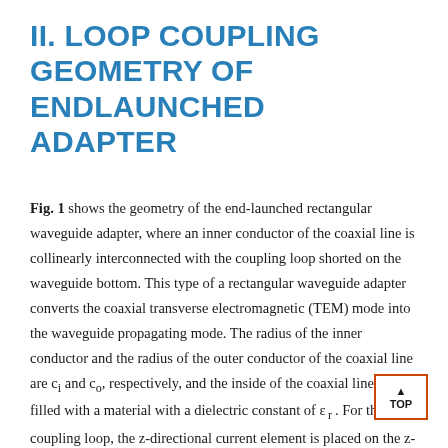II. LOOP COUPLING GEOMETRY OF ENDLAUNCHED ADAPTER
Fig. 1 shows the geometry of the end-launched rectangular waveguide adapter, where an inner conductor of the coaxial line is collinearly interconnected with the coupling loop shorted on the waveguide bottom. This type of a rectangular waveguide adapter converts the coaxial transverse electromagnetic (TEM) mode into the waveguide propagating mode. The radius of the inner conductor and the radius of the outer conductor of the coaxial line are c_i and c_o, respectively, and the inside of the coaxial line is filled with a material with a dielectric constant of ε_r. For the coupling loop, the z-directional current element is placed on the z-axis (0 < z < L_1), while the y-directional current element is placed on the y-axis